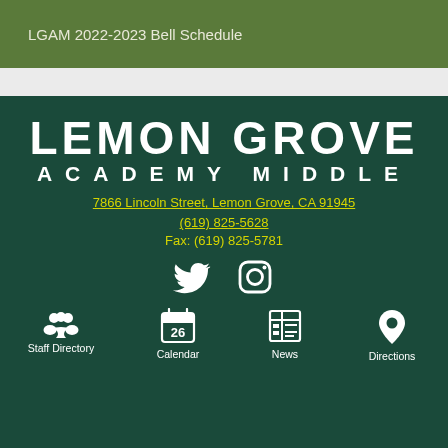LGAM 2022-2023 Bell Schedule
LEMON GROVE
ACADEMY MIDDLE
7866 Lincoln Street, Lemon Grove, CA 91945
(619) 825-5628
Fax: (619) 825-5781
[Figure (logo): Twitter and Instagram social media icons in white]
Staff Directory
Calendar
News
Directions